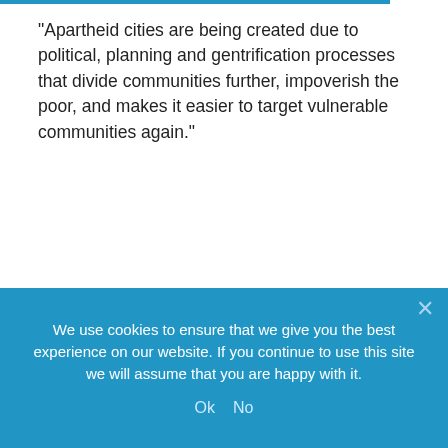“Apartheid cities are being created due to political, planning and gentrification processes that divide communities further, impoverish the poor, and makes it easier to target vulnerable communities again.”
Displacements caused by flooding, beautification of cities, and major sporting events such as the 2010 Commonwealth Games in Delhi and the 2016 Rio Olympics, also led to ghettoization of the poor, said Kothari, a former United Nations special rapporteur for adequate housing.
- Newsletter -
We use cookies to ensure that we give you the best experience on our website. If you continue to use this site we will assume that you are happy with it.
Ok   No